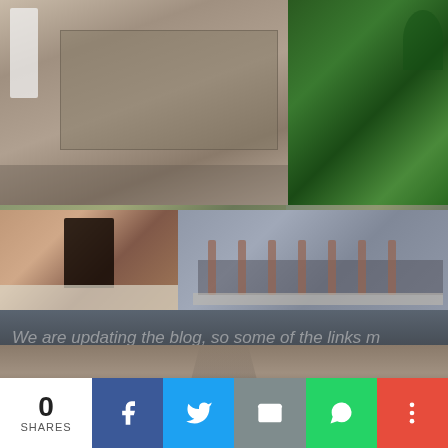[Figure (photo): Collage of ancient Indian temple ruins and stone structures, including stone mandapas, pillared halls, and a lush green forested hill. Multiple photos arranged in a grid showing exterior views of historical temples.]
We are updating the blog, so some of the links m
[Figure (photo): A white van/truck driving on a straight road through a flat landscape, seen from behind, with the road vanishing into the distance.]
Home   Site Map   Vlogs   Introduction
0 SHARES